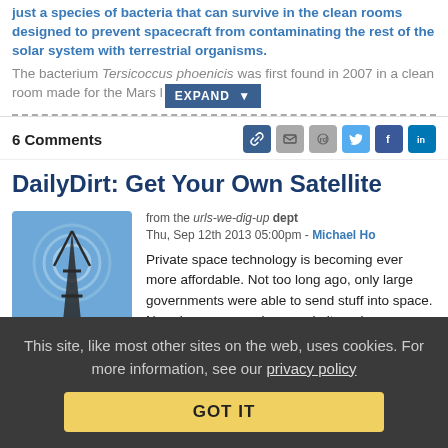just a species of bacteria that can survive in the clean rooms designed to prevent spacecraft from contaminating the rest of the solar system with terrestrial organisms. The bacterium Tersicoccus phoenicis was first found in 2007 in a clean room made for the Mars l...
6 Comments
DailyDirt: Get Your Own Satellite
from the urls-we-dig-up dept
Thu, Sep 12th 2013 05:00pm - Michael Ho
Private space technology is becoming ever more affordable. Not too long ago, only large governments were able to send stuff into space. Now, large companies can do it, and even some wealthy
This site, like most other sites on the web, uses cookies. For more information, see our privacy policy
GOT IT